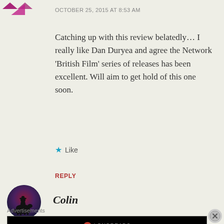[Figure (illustration): Purple/magenta avatar icon with arrows, top-left corner, partially cropped]
OCTOBER 25, 2015 AT 8:53 AM
Catching up with this review belatedly… I really like Dan Duryea and agree the Network 'British Film' series of releases has been excellent. Will aim to get hold of this one soon.
★ Like
REPLY
[Figure (photo): Circular avatar showing silhouette of a cowboy on horseback against a red/purple sky]
Colin
Advertisements
[Figure (screenshot): Longreads advertisement banner on black background with logo and text 'Read anything great lately?']